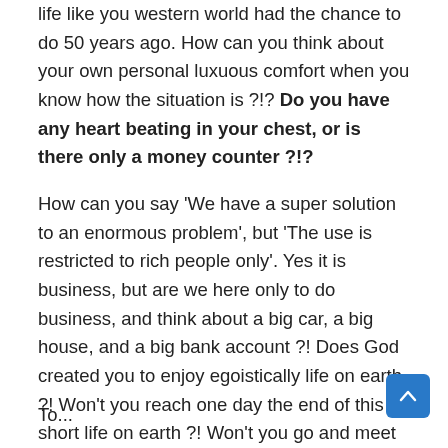life like you western world had the chance to do 50 years ago. How can you think about your own personal luxuous comfort when you know how the situation is ?!? Do you have any heart beating in your chest, or is there only a money counter ?!?
How can you say ‘We have a super solution to an enormous problem’, but ‘The use is restricted to rich people only’. Yes it is business, but are we here only to do business, and think about a big car, a big house, and a big bank account ?! Does God created you to enjoy egoistically life on earth ?! Won’t you reach one day the end of this short life on earth ?! Won’t you go and meet your Lord face to face ?!
To...